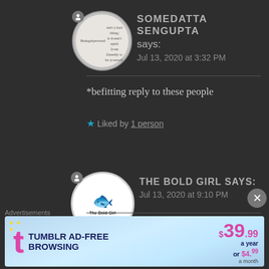[Figure (illustration): Round avatar with user icon for Somedatta Sengupta]
SOMEDATTA SENGUPTA says:
Jul 13, 2020 at 3:32 PM
*befitting reply to these people
★ Liked by 1 person
[Figure (logo): The Bold Girl avatar logo - white circle with The Bold Girl logo]
THE BOLD GIRL says:
Jul 13, 2020 at 9:10 PM
Ahhh.. Okay! Well honestly,
Advertisements
[Figure (screenshot): Tumblr AD-FREE BROWSING advertisement banner: $39.99 a year or $4.99 a month]